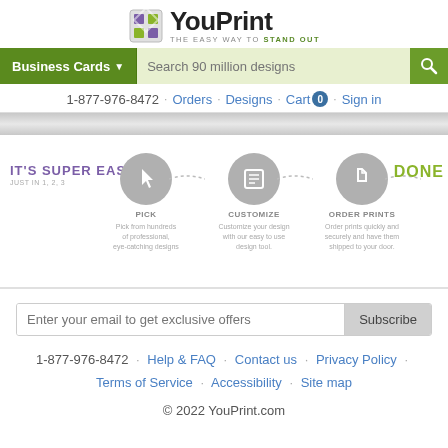[Figure (logo): YouPrint logo with icon and tagline 'THE EASY WAY TO STAND OUT']
[Figure (screenshot): Navigation bar with Business Cards dropdown button and search field 'Search 90 million designs' with search icon]
1-877-976-8472 · Orders · Designs · Cart 0 · Sign in
[Figure (infographic): How it works steps: IT'S SUPER EASY - PICK (Pick from hundreds of professional, eye-catching designs), CUSTOMIZE (Customize your design with our easy to use design tool), ORDER PRINTS (Order prints quickly and securely and have them shipped to your door), DONE]
Enter your email to get exclusive offers
1-877-976-8472 · Help & FAQ · Contact us · Privacy Policy · Terms of Service · Accessibility · Site map
© 2022 YouPrint.com